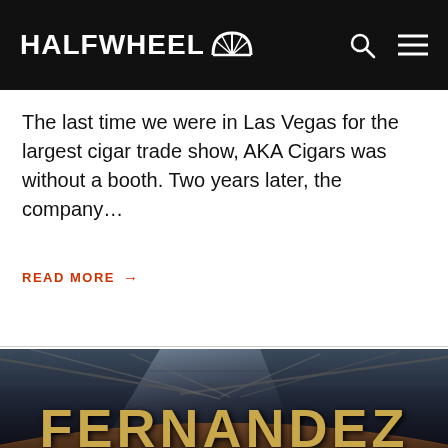HALFWHEEL
The last time we were in Las Vegas for the largest cigar trade show, AKA Cigars was without a booth. Two years later, the company…
READ MORE →
[Figure (photo): Photo of a wooden trade show booth sign reading 'FERNANDEZ' in large gold letters, with metal roof trusses visible above in a dark warehouse-style exhibition hall.]